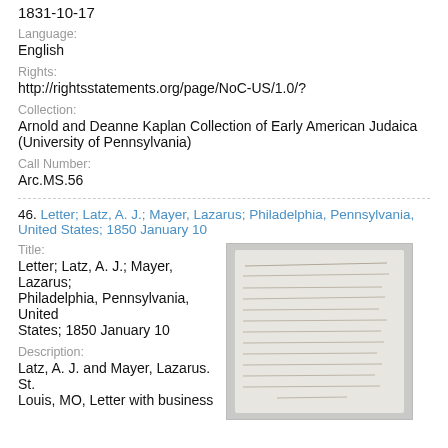1831-10-17
Language:
English
Rights:
http://rightsstatements.org/page/NoC-US/1.0/?
Collection:
Arnold and Deanne Kaplan Collection of Early American Judaica (University of Pennsylvania)
Call Number:
Arc.MS.56
46. Letter; Latz, A. J.; Mayer, Lazarus; Philadelphia, Pennsylvania, United States; 1850 January 10
Title:
Letter; Latz, A. J.; Mayer, Lazarus; Philadelphia, Pennsylvania, United States; 1850 January 10
Description:
Latz, A. J. and Mayer, Lazarus. St. Louis, MO, Letter with business
[Figure (photo): Thumbnail of a handwritten letter document]